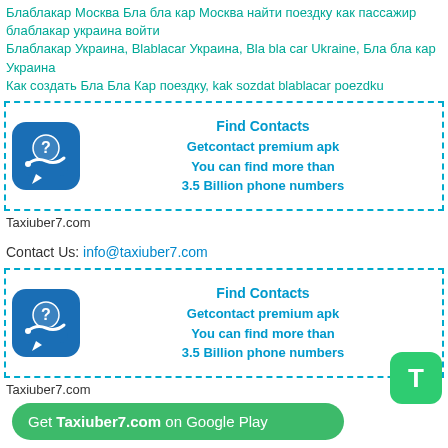Блаблакар Москва Бла бла кар Москва найти поездку как пассажир
блаблакар украина войти
Блаблакар Украина, Blablacar Украина, Bla bla car Ukraine, Бла бла кар Украина
Как создать Бла Бла Кар поездку, kak sozdat blablacar poezdku
[Figure (other): Ad banner: GetContact app icon (blue phone with question mark bubble) with text 'Find Contacts Getcontact premium apk You can find more than 3.5 Billion phone numbers']
Taxiuber7.com
Contact Us: info@taxiuber7.com
[Figure (other): Ad banner: GetContact app icon (blue phone with question mark bubble) with text 'Find Contacts Getcontact premium apk You can find more than 3.5 Billion phone numbers']
Taxiuber7.com
Get Taxiuber7.com on Google Play